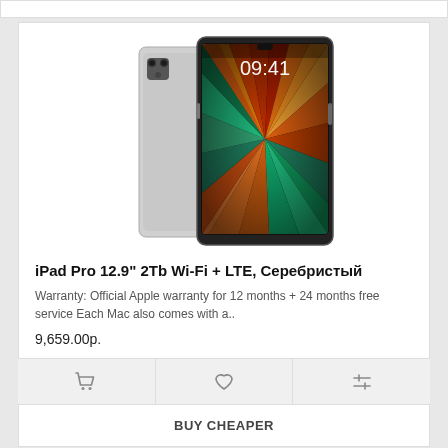[Figure (photo): iPad Pro 12.9 inch shown from front and back. Front shows colorful sunburst wallpaper with time 09:41. Back shows silver aluminum finish with camera module. Both devices displayed at an angle.]
iPad Pro 12.9" 2Tb Wi-Fi + LTE, Серебристый
Warranty: Official Apple warranty for 12 months + 24 months free service Each Mac also comes with a..
9,659.00р.
[Figure (other): Three action icon buttons: shopping cart, heart/wishlist, and compare/filter sliders]
BUY CHEAPER